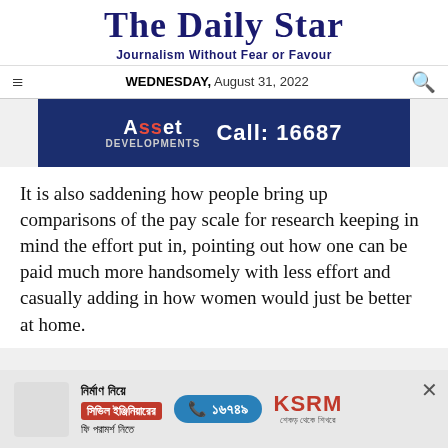The Daily Star
Journalism Without Fear or Favour
WEDNESDAY, August 31, 2022
[Figure (photo): Advertisement banner for Asset Developments with dark blue background showing 'Asset Developments' logo and 'Call: 16687']
It is also saddening how people bring up comparisons of the pay scale for research keeping in mind the effort put in, pointing out how one can be paid much more handsomely with less effort and casually adding in how women would just be better at home.
[Figure (photo): Advertisement banner for KSRM featuring Bengali text about civil engineering consultation, phone number 16749, and KSRM logo]